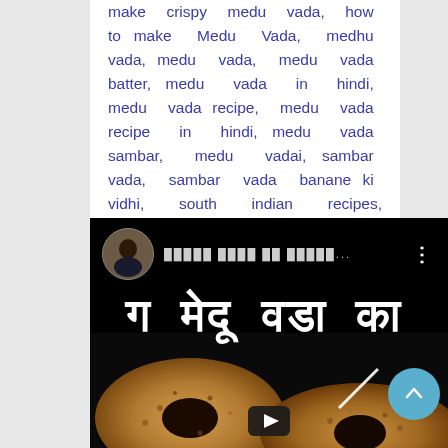make crispy medu vada, how to make Medu Vada, medhu vada, medu vada, medu vada batter, medu vada in hindi, medu vada recipe, medu vada recipe in hindi, medu vada sambar, medu vadai, sambar vada, sambar vada banane ki vidhi, south indian recipes, ulundu vadai, vada, vada recipe,
[Figure (screenshot): YouTube video thumbnail showing a medu vada recipe video. Dark/black background with a circular avatar of a person in black clothing, Hindi channel name text, three-dot menu icon. Large white bold Hindi text reading 'मेदू वडा का'. Bottom portion shows close-up image of medu vada (fried lentil donuts). A diagonal white line and YouTube play button are visible.]